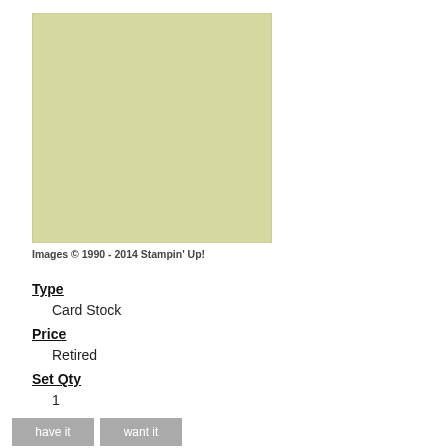[Figure (illustration): A square swatch of pale yellow-green card stock paper with a slightly textured surface.]
Images © 1990 - 2014 Stampin' Up!
Type
Card Stock
Price
Retired
Set Qty
1
have it
want it